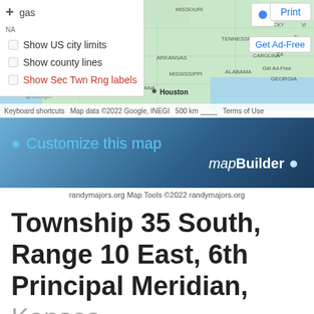[Figure (map): Google Maps screenshot showing south-central United States including Kansas, Missouri, Oklahoma, Arkansas, Mississippi, Tennessee, Alabama, Georgia, Louisiana, with Houston labeled. Map overlay shows toolbar with checkboxes for 'Show US city limits', 'Show county lines', 'Show Sec Twn Rng labels'. Attribution bar reads: Keyboard shortcuts | Map data ©2022 Google, INEGI | 500 km | Terms of Use. Print button and blue dot in top right corner, Get Ad-Free link below.]
[Figure (infographic): mapBuilder banner with blue gradient background, map pin icon, 'Customize this map' in light blue text, and 'mapBuilder' in white italic/bold text with a small blue sphere dot.]
randymajors.org Map Tools ©2022 randymajors.org
Township 35 South, Range 10 East, 6th Principal Meridian, Kansas